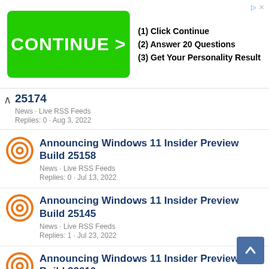[Figure (other): Advertisement banner with green CONTINUE > button and text: (1) Click Continue, (2) Answer 20 Questions, (3) Get Your Personality Result]
25174
News · Live RSS Feeds
Replies: 0 · Aug 3, 2022
Announcing Windows 11 Insider Preview Build 25158
News · Live RSS Feeds
Replies: 0 · Jul 13, 2022
Announcing Windows 11 Insider Preview Build 25145
News · Live RSS Feeds
Replies: 1 · Jul 23, 2022
Announcing Windows 11 Insider Preview Build 22610
News · Live RSS Feeds
Replies: ...